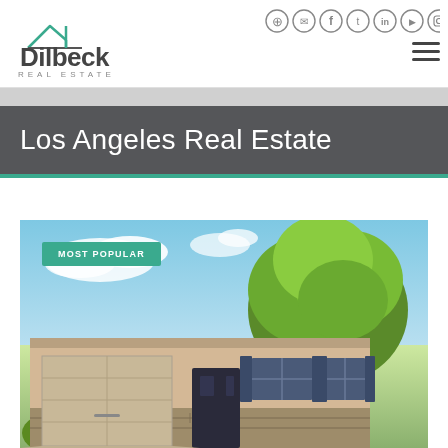[Figure (logo): Dilbeck Real Estate logo with house roofline graphic above the text]
[Figure (screenshot): Social media icons (login, email, Facebook, Twitter, LinkedIn, YouTube, Instagram) and hamburger menu in the header navigation]
Los Angeles Real Estate
[Figure (photo): Real estate property photo of a single-story suburban home with a two-car garage, stone accents, blue shutters, and large trees under a blue sky. Badge reads 'MOST POPULAR'.]